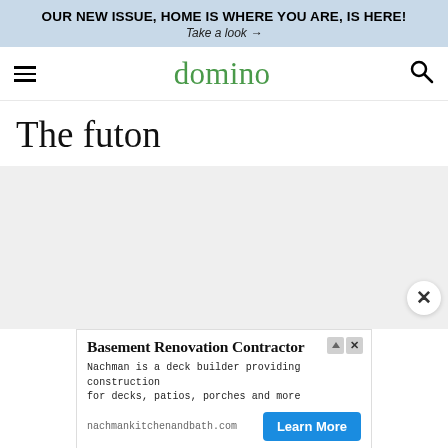OUR NEW ISSUE, HOME IS WHERE YOU ARE, IS HERE! Take a look →
domino
The futon
[Figure (other): Light gray placeholder image area for article content]
[Figure (other): Advertisement: Basement Renovation Contractor. Nachman is a deck builder providing construction for decks, patios, porches and more. nachmankitchenandbath.com. Learn More button.]